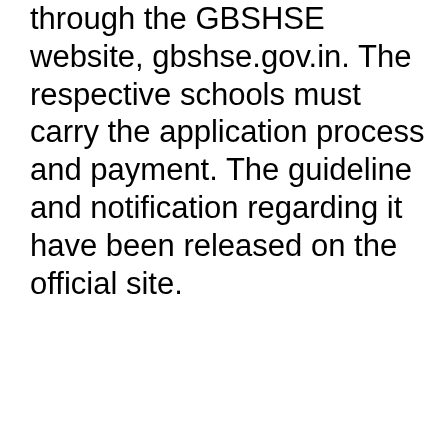through the GBSHSE website, gbshse.gov.in. The respective schools must carry the application process and payment. The guideline and notification regarding it have been released on the official site.